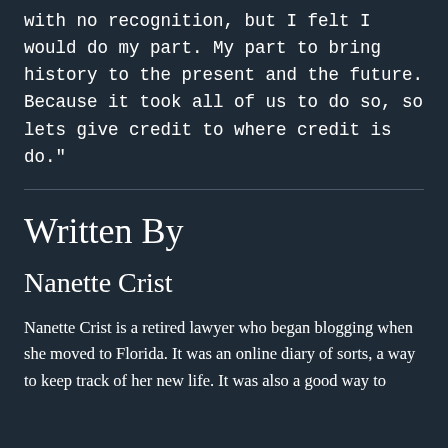with no recognition, but I felt I would do my part. My part to bring history to the present and the future. Because it took all of us to do so, so lets give credit to where credit is do."
Written By
Nanette Crist
Nanette Crist is a retired lawyer who began blogging when she moved to Florida. It was an online diary of sorts, a way to keep track of her new life. It was also a good way to